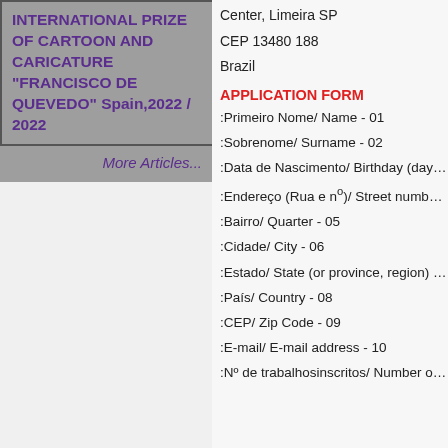INTERNATIONAL PRIZE OF CARTOON AND CARICATURE “FRANCISCO DE QUEVEDO” Spain,2022 / 2022
More Articles...
Center, Limeira SP
CEP 13480 188
Brazil
APPLICATION FORM
:Primeiro Nome/ Name - 01
:Sobrenome/ Surname - 02
:Data de Nascimento/ Birthday (day/mor
:Endereço (Rua e nº)/ Street number an
:Bairro/ Quarter - 05
:Cidade/ City - 06
:Estado/ State (or province, region) - 07
:País/ Country - 08
:CEP/ Zip Code - 09
:E-mail/ E-mail address - 10
:Nº de trabalhosinscritos/ Number of sub